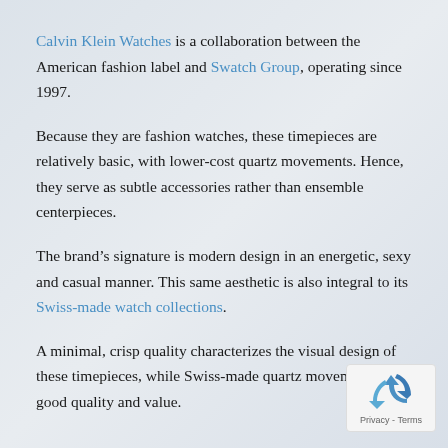Calvin Klein Watches is a collaboration between the American fashion label and Swatch Group, operating since 1997.
Because they are fashion watches, these timepieces are relatively basic, with lower-cost quartz movements. Hence, they serve as subtle accessories rather than ensemble centerpieces.
The brand's signature is modern design in an energetic, sexy and casual manner. This same aesthetic is also integral to its Swiss-made watch collections.
A minimal, crisp quality characterizes the visual design of these timepieces, while Swiss-made quartz movements offer good quality and value.
[Figure (logo): reCAPTCHA privacy badge with recycling-arrow icon and Privacy - Terms text]